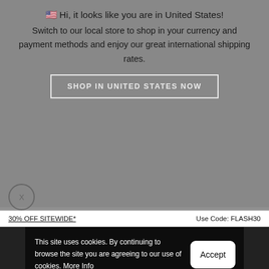🇺🇸 Hi, it looks like you are in United States!
Switch to our local store to shop in your currency and payment methods and enjoy our great international shipping rates.
SHOP IN UNITED STATES NOW
X
This site uses cookies. By continuing to browse the site you are agreeing to our use of cookies. More Info
Accept
30% OFF SITEWIDE*    Use Code: FLASH30
[Figure (photo): Gray sweatshirt/sweater product photo on gray background with small brand logo on chest]